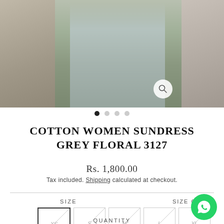[Figure (photo): Product image gallery showing a woman in a grey floral cotton sundress, with side panel thumbnails. A magnify icon is visible on the center image.]
COTTON WOMEN SUNDRESS GREY FLORAL 3127
Rs. 1,800.00
Tax included. Shipping calculated at checkout.
SIZE
SIZE CHART
XS S M L XL (size buttons)
QUANTITY